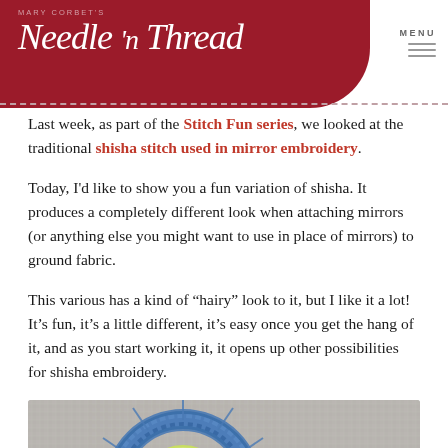[Figure (logo): Mary Corbet's Needle 'n Thread logo in white script on dark red/crimson curved header background, with MENU hamburger icon top right]
Last week, as part of the Stitch Fun series, we looked at the traditional shisha stitch used in mirror embroidery.
Today, I'd like to show you a fun variation of shisha. It produces a completely different look when attaching mirrors (or anything else you might want to use in place of mirrors) to ground fabric.
This various has a kind of “hairy” look to it, but I like it a lot! It’s fun, it’s a little different, it’s easy once you get the hang of it, and as you start working it, it opens up other possibilities for shisha embroidery.
[Figure (photo): Close-up photo of blue embroidery thread in shisha stitch on grey fabric, with a yellow-green mirror/disc visible in the center of the circular stitch pattern]